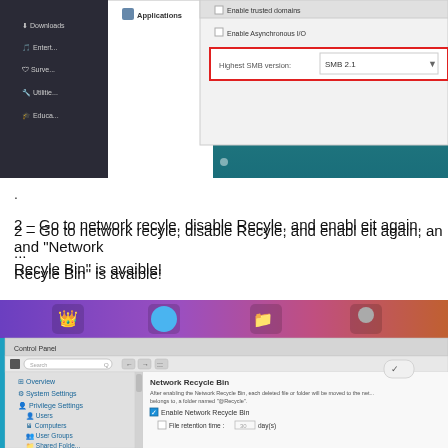[Figure (screenshot): Screenshot of a NAS or system application settings panel showing a dark sidebar with items like Downloads, Entertainment, Surveillance, Utilities, Education, and a floating dialog box with 'Enable trusted domains', 'Enable Asynchronous I/O' checkboxes, and a highlighted 'Highest SMB version: SMB 2.1' dropdown, with pagination dots at the bottom.]
.
2 – Go to network recyle, disable Recyle, and enabl eit again, and "Network Recyle Bin" is avaible!
[Figure (screenshot): Screenshot of a NAS Control Panel showing Network Recycle Bin settings with options: Enable Network Recycle Bin checkbox (checked), File retention time: 30 day(s), and a sidebar with Overview, System Settings, Privilege Settings, Users, Computers, User Groups, Shared Folders.]